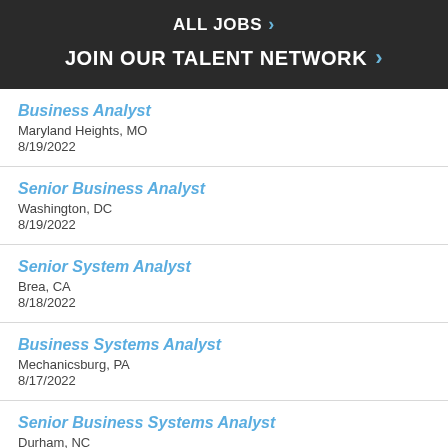ALL JOBS >
JOIN OUR TALENT NETWORK >
Business Analyst
Maryland Heights, MO
8/19/2022
Senior Business Analyst
Washington, DC
8/19/2022
Senior System Analyst
Brea, CA
8/18/2022
Business Systems Analyst
Mechanicsburg, PA
8/17/2022
Senior Business Systems Analyst
Durham, NC